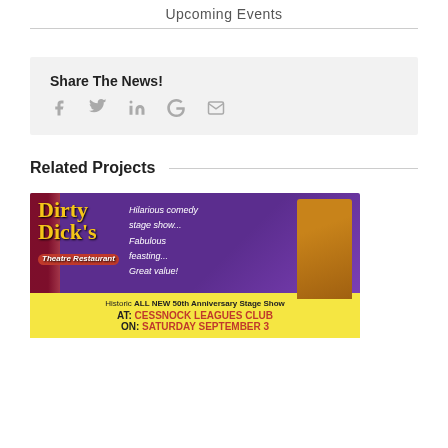Upcoming Events
Share The News!
[Figure (infographic): Social sharing icons: Facebook, Twitter, LinkedIn, Google+, Email]
Related Projects
[Figure (infographic): Dirty Dick's Theatre Restaurant banner ad. Hilarious comedy stage show... Fabulous feasting... Great value! Historic ALL NEW 50th Anniversary Stage Show AT: CESSNOCK LEAGUES CLUB ON: SATURDAY SEPTEMBER 3]